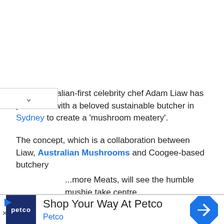In an Australian-first celebrity chef Adam Liaw has partnered with a beloved sustainable butcher in Sydney to create a 'mushroom meatery'.
The concept, which is a collaboration between Liaw, Australian Mushrooms and Coogee-based butchery ...more Meats, will see the humble mushie take centre
[Figure (other): Advertisement banner for Petco featuring the Petco logo, the text 'Shop Your Way At Petco', 'Petco', and a navigation icon.]